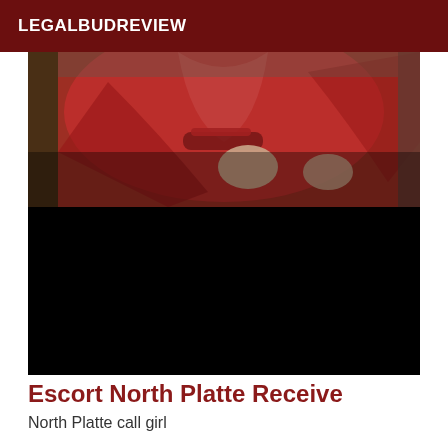LEGALBUDREVIEW
[Figure (photo): A person wearing a red dress, photo partially obscured with a black redaction block covering the lower portion.]
Escort North Platte Receive
North Platte call girl